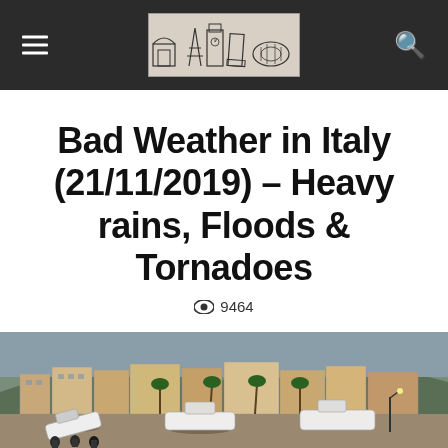Website header with logo and navigation icons
Bad Weather in Italy (21/11/2019) – Heavy rains, Floods & Tornadoes
👁 9464
[Figure (photo): Flood-damaged harbor with boats washed ashore amid debris, with historic buildings and palm trees in the background, in an Italian coastal city.]